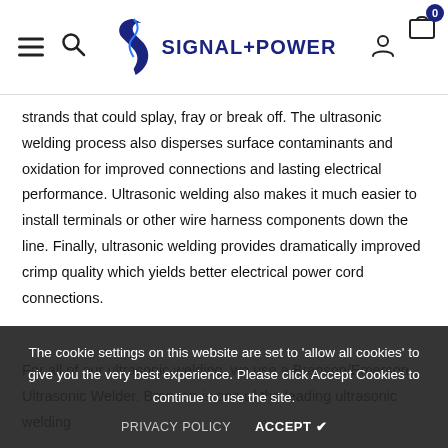SIGNAL+POWER — Navigation header with hamburger menu, search, logo, user icon, and cart (0)
strands that could splay, fray or break off.  The ultrasonic welding process also disperses surface contaminants and oxidation for improved connections and lasting electrical performance. Ultrasonic welding also makes it much easier to install terminals or other wire harness components down the line. Finally, ultrasonic welding provides dramatically improved crimp quality which yields better electrical power cord connections.
For all of our ultrasonic welding, we use a Branson/Emerson Ultrasonic Welder. Branson is one of the leading ultrasonic welding re...  pro...  gives us the ability to manufacture power cords with an ultrasonic weld length of anyw...  cords with wire
The cookie settings on this website are set to 'allow all cookies' to give you the very best experience. Please click Accept Cookies to continue to use the site.
PRIVACY POLICY    ACCEPT ✔